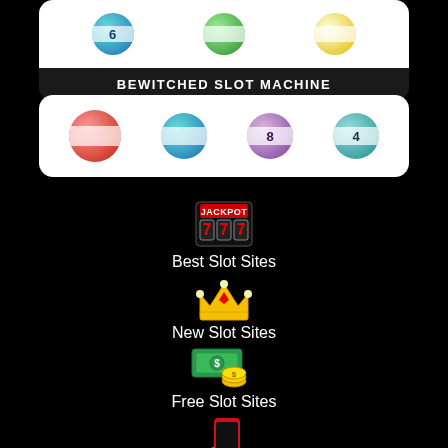[Figure (illustration): Card with lottery balls (6, green, yellow) on white background, black bottom bar labeled BEWITCHED SLOT MACHINE]
BEWITCHED SLOT MACHINE
[Figure (illustration): Card with lottery balls (red, blue, 8, teal/4) on white background]
[Figure (illustration): Jackpot slot machine icon showing 777]
Best Slot Sites
[Figure (illustration): Gold crown with red gem emoji]
New Slot Sites
[Figure (illustration): Green money bills with gold coins emoji]
Free Slot Sites
[Figure (illustration): Red smartphone held in hand emoji]
Mobile Slot Sites